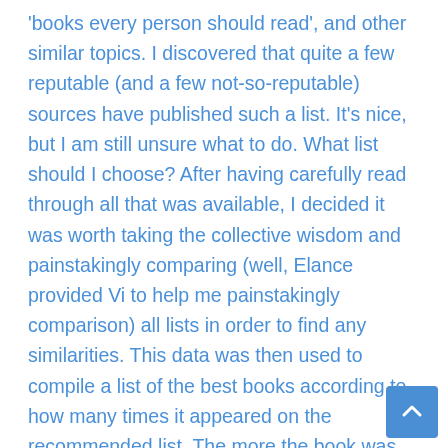'books every person should read', and other similar topics. I discovered that quite a few reputable (and a few not-so-reputable) sources have published such a list. It's nice, but I am still unsure what to do. What list should I choose? After having carefully read through all that was available, I decided it was worth taking the collective wisdom and painstakingly comparing (well, Elance provided Vi to help me painstakingly comparison) all lists in order to find any similarities. This data was then used to compile a list of the best books according to how many times it appeared on the recommended list. The more the book was referred to by the lists, the more the experts agreed, and the more securely that book's place became in my new and improved books-to-read-before-you-die list. These are the eight lists I started with. They were amalgamated